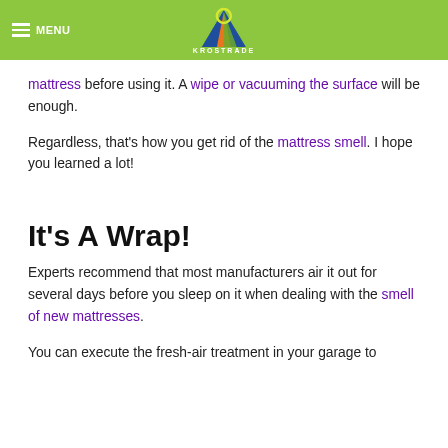MENU | KROSTRADE
mattress before using it. A wipe or vacuuming the surface will be enough.
Regardless, that's how you get rid of the mattress smell. I hope you learned a lot!
It's A Wrap!
Experts recommend that most manufacturers air it out for several days before you sleep on it when dealing with the smell of new mattresses.
You can execute the fresh-air treatment in your garage to